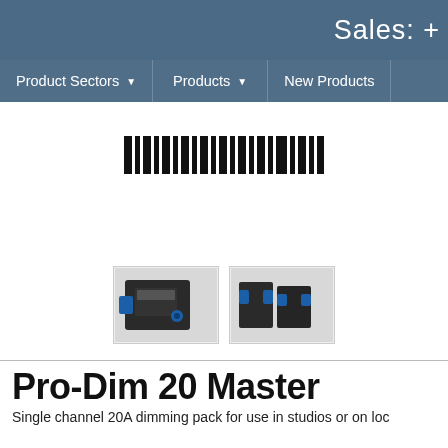Sales: +
Product Sectors   Products   New Products
[Figure (other): Barcode / loading indicator bar pattern shown in the center of the page]
[Figure (photo): Two product photos of the Pro-Dim 20 Master dimming pack unit, showing the device from different angles with blue connectors]
Pro-Dim 20 Master
Single channel 20A dimming pack for use in studios or on loc